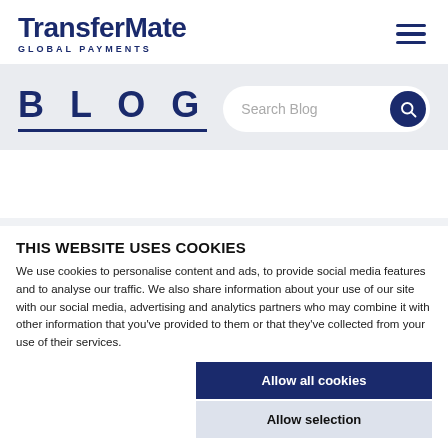[Figure (logo): TransferMate Global Payments logo in dark navy blue]
[Figure (other): Hamburger menu icon (three horizontal lines) in dark navy blue]
BLOG
[Figure (other): Search Blog input bar with magnifying glass icon]
THIS WEBSITE USES COOKIES
We use cookies to personalise content and ads, to provide social media features and to analyse our traffic. We also share information about your use of our site with our social media, advertising and analytics partners who may combine it with other information that you've provided to them or that they've collected from your use of their services.
Allow all cookies
Allow selection